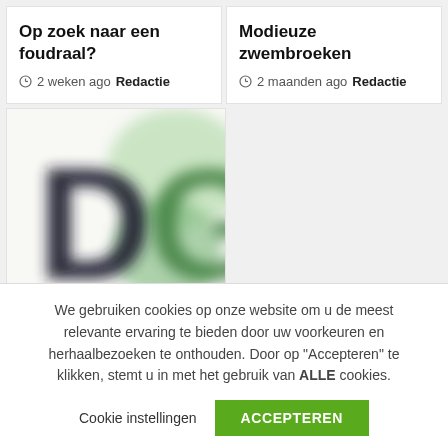Op zoek naar een foudraal?
2 weken ago  Redactie
Modieuze zwembroeken
2 maanden ago  Redactie
[Figure (logo): Blurred logo showing letters .DG in black and green on a light background]
We gebruiken cookies op onze website om u de meest relevante ervaring te bieden door uw voorkeuren en herhaalbezoeken te onthouden. Door op "Accepteren" te klikken, stemt u in met het gebruik van ALLE cookies.
Cookie instellingen
ACCEPTEREN